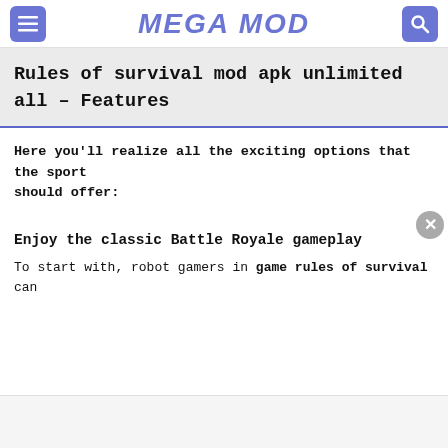MEGA MOD
Rules of survival mod apk unlimited all – Features
Here you'll realize all the exciting options that the sport should offer:
Enjoy the classic Battle Royale gameplay
To start with, robot gamers in game rules of survival can